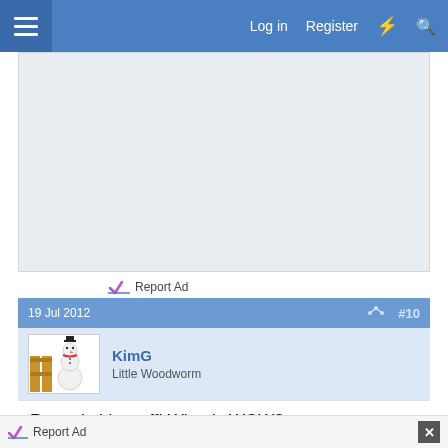Log in  Register
[Figure (other): Advertisement placeholder area with light gray background]
Report Ad
19 Jul 2012  #10
[Figure (illustration): Snowman avatar for user KimG]
KimG
Little Woodworm
Remarkable stuff! What is WOW?
Report Ad
IWC SealCoating, Inc.
Don't Replace, Rejuvenate
Contact Us